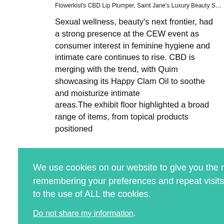Flowerkist's CBD Lip Plumper, Saint Jane's Luxury Beauty S...
Sexual wellness, beauty's next frontier, had a strong presence at the CEW event as consumer interest in feminine hygiene and intimate care continues to rise. CBD is merging with the trend, with Quim showcasing its Happy Clam Oil to soothe and moisturize intimate areas.The exhibit floor highlighted a broad range of items, from topical products positioned
x toy me of the t ur, andForia.
We use cookies on our website to give you the most relevant experience by remembering your preferences and repeat visits. By clicking "Accept", you consent to the use of ALL the cookies.
Do not share my information.
Cookie Settings
Accept